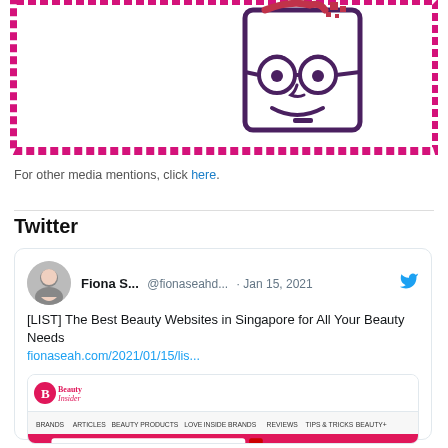[Figure (logo): Beauty Insider logo with cartoon face wearing glasses inside a magenta/pink border frame, with pixelated hair detail]
For other media mentions, click here.
Twitter
[Figure (screenshot): Embedded tweet from Fiona S... @fionaseahd... Jan 15, 2021 reading: [LIST] The Best Beauty Websites in Singapore for All Your Beauty Needs fionaseah.com/2021/01/15/lis... with a preview image of the Beauty Insider website]